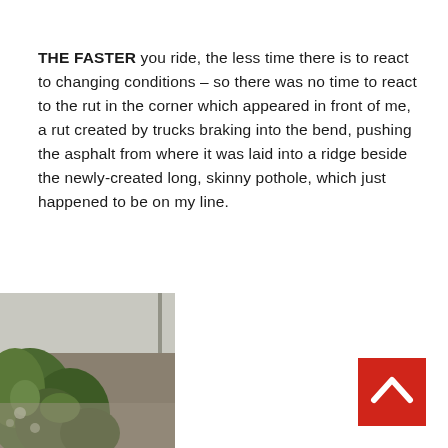THE FASTER you ride, the less time there is to react to changing conditions – so there was no time to react to the rut in the corner which appeared in front of me, a rut created by trucks braking into the bend, pushing the asphalt from where it was laid into a ridge beside the newly-created long, skinny pothole, which just happened to be on my line.
[Figure (photo): Partial view of a road scene with trees and greenery visible on the left side, partially cropped at the bottom-left of the page.]
[Figure (other): A red square button with a white upward-pointing chevron/arrow icon, positioned at the bottom-right corner of the page.]